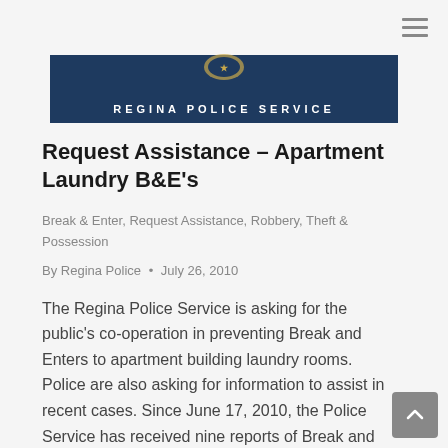[Figure (logo): Regina Police Service header banner with logo and text]
Request Assistance – Apartment Laundry B&E's
Break & Enter, Request Assistance, Robbery, Theft & Possession
By Regina Police • July 26, 2010
The Regina Police Service is asking for the public's co-operation in preventing Break and Enters to apartment building laundry rooms.  Police are also asking for information to assist in recent cases. Since June 17, 2010, the Police Service has received nine reports of Break and Enter